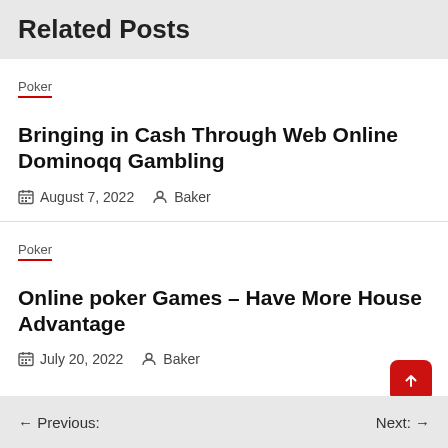Related Posts
Poker
Bringing in Cash Through Web Online Dominoqq Gambling
August 7, 2022  Baker
Poker
Online poker Games – Have More House Advantage
July 20, 2022  Baker
← Previous:    Next: →